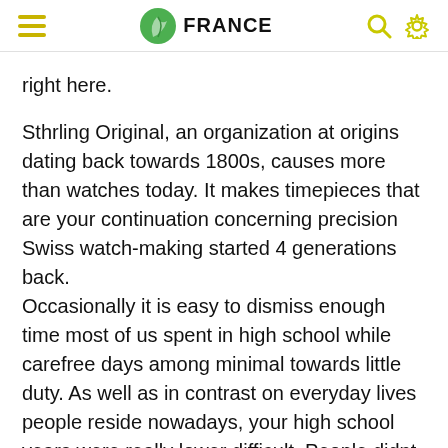FRANCE
right here.
Sthrling Original, an organization at origins dating back towards 1800s, causes more than watches today. It makes timepieces that are your continuation concerning precision Swiss watch-making started 4 generations back.
Occasionally it is easy to dismiss enough time most of us spent in high school while carefree days among minimal towards little duty. As well as in contrast on everyday lives people reside nowadays, your high school years were really lower difficult. People didnt have careers as families in order to bother about. The outlook concerning aging wasnt and immediate. Not To Mention we didnt suffer from our youngsters.